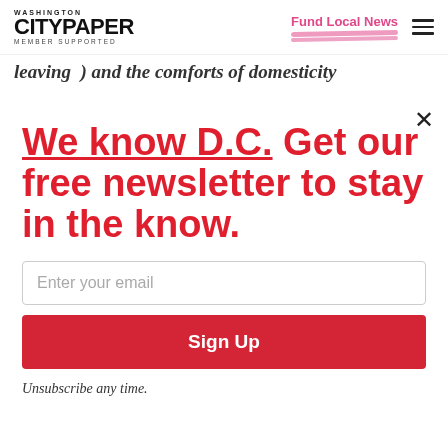Washington City Paper — Member Supported | Fund Local News
leaving ) and the comforts of domesticity
We know D.C. Get our free newsletter to stay in the know.
Enter your email
Sign Up
Unsubscribe any time.